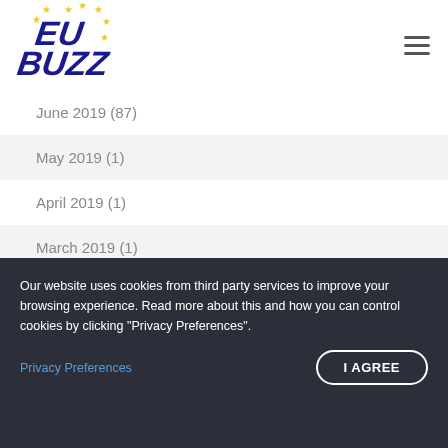[Figure (logo): EU Buzz logo with blue italic text and yellow EU stars]
June 2019 (87)
May 2019 (1)
April 2019 (1)
March 2019 (1)
February 2019 (1)
Our website uses cookies from third party services to improve your browsing experience. Read more about this and how you can control cookies by clicking "Privacy Preferences".
Privacy Preferences
I AGREE